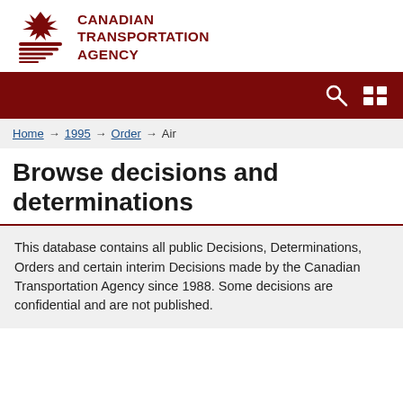[Figure (logo): Canadian Transportation Agency logo with stylized maple leaf and horizontal lines emblem in dark red, followed by agency name text]
[Figure (screenshot): Dark red navigation bar with search icon and grid/menu icon on the right]
Home → 1995 → Order → Air
Browse decisions and determinations
This database contains all public Decisions, Determinations, Orders and certain interim Decisions made by the Canadian Transportation Agency since 1988. Some decisions are confidential and are not published.